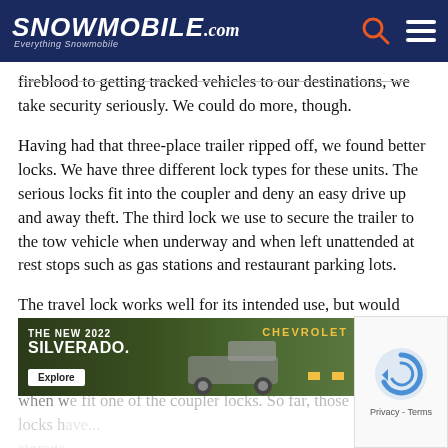Snowmobile.com — Everything Snowmobile
fireblood to getting tracked vehicles to our destinations, we take security seriously. We could do more, though.
Having had that three-place trailer ripped off, we found better locks. We have three different lock types for these units. The serious locks fit into the coupler and deny an easy drive up and away theft. The third lock we use to secure the trailer to the tow vehicle when underway and when left unattended at rest stops such as gas stations and restaurant parking lots.
The travel lock works well for its intended use, but would never withstand a serious hammer attack at a motel or resort's overnight lot, where we might unhook so we could use the tow vehicle to find an in-town restaurant. That's when we fit one of the coupler locks. So far, those locks have... storage
[Figure (screenshot): Advertisement overlay: THE NEW 2022 SILVERADO. with Explore button and Chevrolet logo, truck photo on dark green background]
[Figure (other): reCAPTCHA widget overlay showing rotating arrow logo and Privacy - Terms text]